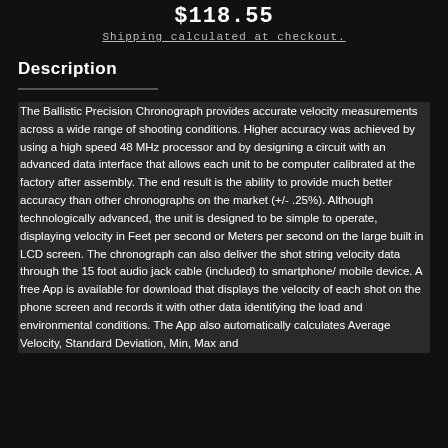$118.55
Shipping calculated at checkout.
Description
The Ballistic Precision Chronograph provides accurate velocity measurements across a wide range of shooting conditions. Higher accuracy was achieved by using a high speed 48 MHz processor and by designing a circuit with an advanced data interface that allows each unit to be computer calibrated at the factory after assembly. The end result is the ability to provide much better accuracy than other chronographs on the market (+/- .25%). Although technologically advanced, the unit is designed to be simple to operate, displaying velocity in Feet per second or Meters per second on the large built in LCD screen. The chronograph can also deliver the shot string velocity data through the 15 foot audio jack cable (included) to smartphone/ mobile device. A free App is available for download that displays the velocity of each shot on the phone screen and records it with other data identifying the load and environmental conditions. The App also automatically calculates Average Velocity, Standard Deviation, Min, Max and